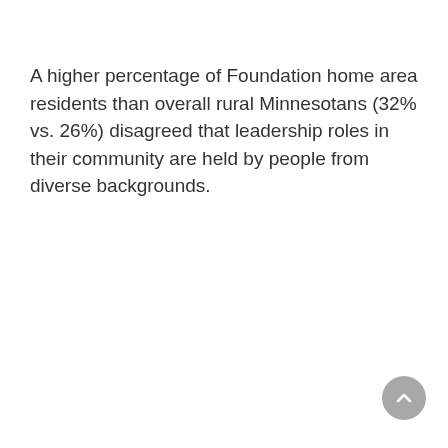A higher percentage of Foundation home area residents than overall rural Minnesotans (32% vs. 26%) disagreed that leadership roles in their community are held by people from diverse backgrounds.